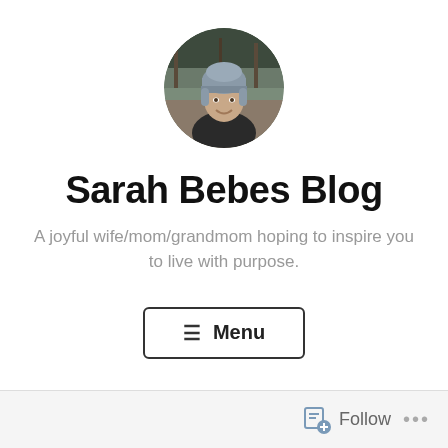[Figure (photo): Circular profile photo of a woman wearing a grey knit beanie hat, smiling, outdoors with fence/barn in background.]
Sarah Bebes Blog
A joyful wife/mom/grandmom hoping to inspire you to live with purpose.
≡  Menu
Follow   ...